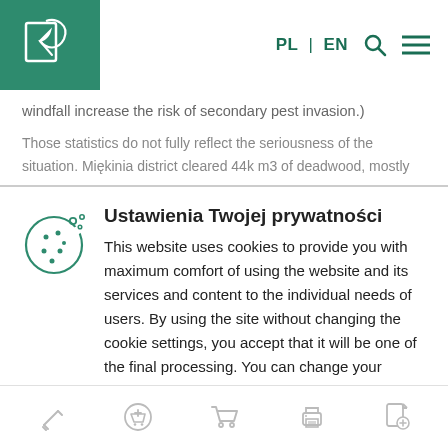[Figure (logo): Green square logo with white leaf and document icon]
PL | EN [search icon] [menu icon]
windfall increase the risk of secondary pest invasion.)
Those statistics do not fully reflect the seriousness of the situation. Miękinia district cleared 44k m3 of deadwood, mostly
Ustawienia Twojej prywatności
This website uses cookies to provide you with maximum comfort of using the website and its services and content to the individual needs of users. By using the site without changing the cookie settings, you accept that it will be one of the final processing. You can change your cookie settings at any time
[Figure (screenshot): Bottom mobile toolbar with 5 icons: pencil, cart with plus, shopping cart, printer, document with plus]